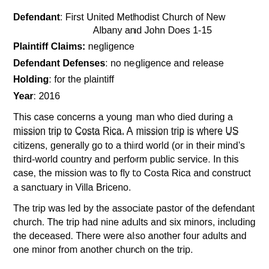Defendant: First United Methodist Church of New Albany and John Does 1-15
Plaintiff Claims: negligence
Defendant Defenses: no negligence and release
Holding: for the plaintiff
Year: 2016
This case concerns a young man who died during a mission trip to Costa Rica. A mission trip is where US citizens, generally go to a third world (or in their mind’s third-world country and perform public service. In this case, the mission was to fly to Costa Rica and construct a sanctuary in Villa Briceno.
The trip was led by the associate pastor of the defendant church. The trip had nine adults and six minors, including the deceased. There were also another four adults and one minor from another church on the trip.